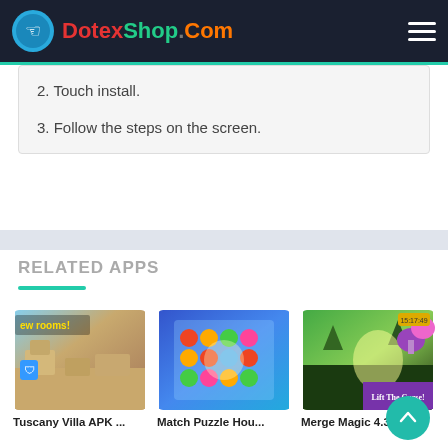DotexShop.Com
2. Touch install.
3. Follow the steps on the screen.
RELATED APPS
[Figure (screenshot): Tuscany Villa APK game thumbnail showing 3D room building scene]
Tuscany Villa APK ...
[Figure (screenshot): Match Puzzle House game thumbnail showing colorful match-3 puzzle board]
Match Puzzle Hou...
[Figure (screenshot): Merge Magic 4.3.0 game thumbnail showing fantasy merge game with 'Lift The Curse!' banner]
Merge Magic 4.3.0 ...